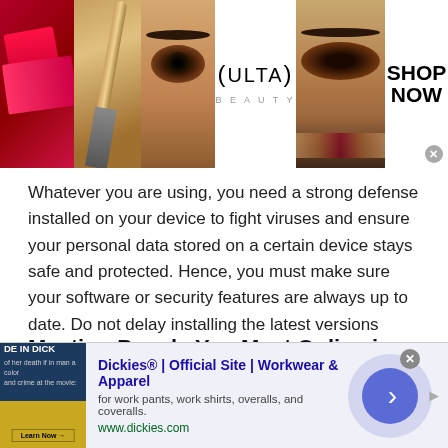[Figure (screenshot): Ulta Beauty advertisement banner with makeup/beauty images (lipstick, makeup brush, eye makeup, Ulta logo) and 'SHOP NOW' call to action]
Whatever you are using, you need a strong defense installed on your device to fight viruses and ensure your personal data stored on a certain device stays safe and protected. Hence, you must make sure your software or security features are always up to date. Do not delay installing the latest versions because these will be your main defense against any virus that you might encounter while using a platform for Fijian Love Chat .
Meeting People You Meet Online in Person
[Figure (screenshot): Dickies advertisement: 'Dickies® | Official Site | Workwear & Apparel — for work pants, work shirts, overalls, and coveralls. www.dickies.com' with navy/gold product image and blue circular arrow button]